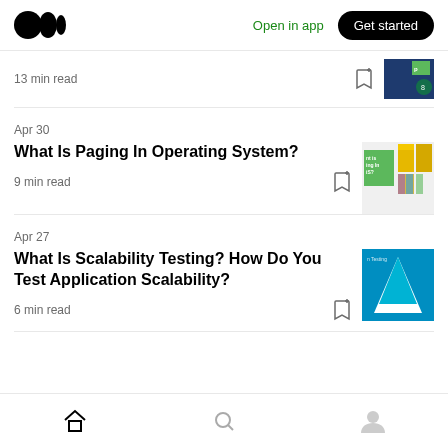Medium logo | Open in app | Get started
13 min read
Apr 30
What Is Paging In Operating System?
9 min read
Apr 27
What Is Scalability Testing? How Do You Test Application Scalability?
6 min read
Home | Search | Profile